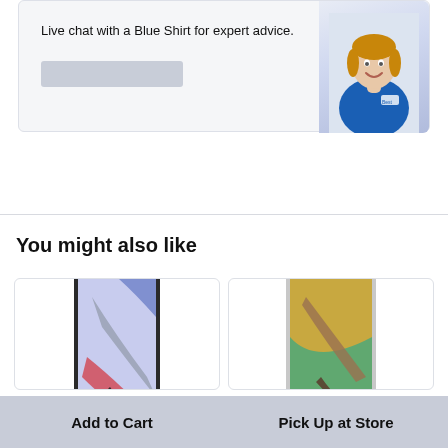Live chat with a Blue Shirt for expert advice.
[Figure (photo): Woman in blue Best Buy shirt smiling]
You might also like
[Figure (photo): Samsung Galaxy tablet in dark frame showing colorful abstract wallpaper]
[Figure (photo): Samsung Galaxy tablet in silver frame showing golden/green abstract wallpaper]
Add to Cart
Pick Up at Store